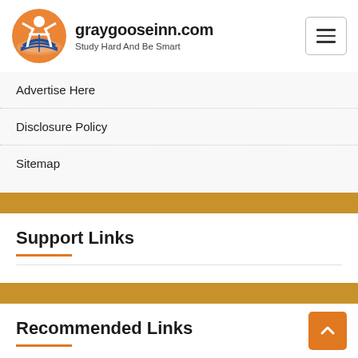graygooseinn.com — Study Hard And Be Smart
Advertise Here
Disclosure Policy
Sitemap
Support Links
Recommended Links